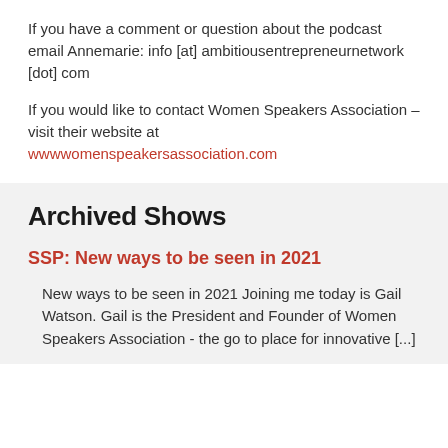If you have a comment or question about the podcast email Annemarie: info [at] ambitiousentrepreneurnetwork [dot] com
If you would like to contact Women Speakers Association – visit their website at wwwwomenspeakersassociation.com
Archived Shows
SSP: New ways to be seen in 2021
New ways to be seen in 2021 Joining me today is Gail Watson. Gail is the President and Founder of Women Speakers Association - the go to place for innovative [...]